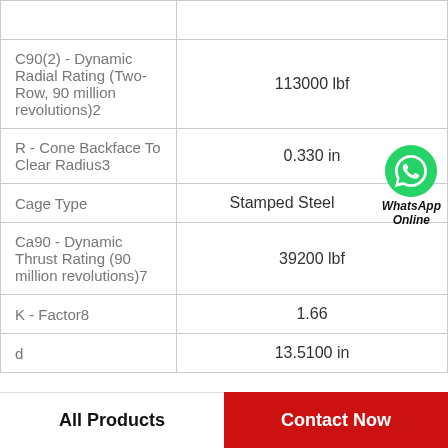| Property | Value |
| --- | --- |
| C90(2) - Dynamic Radial Rating (Two-Row, 90 million revolutions)2 | 113000 lbf |
| R - Cone Backface To Clear Radius3 | 0.330 in |
| Cage Type | Stamped Steel |
| Ca90 - Dynamic Thrust Rating (90 million revolutions)7 | 39200 lbf |
| K - Factor8 | 1.66 |
| d | 13.5100 in |
WhatsApp Online
All Products | Contact Now